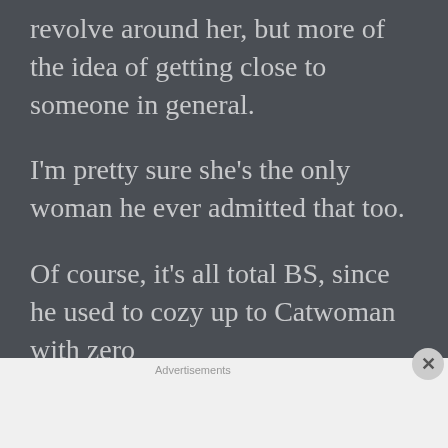revolve around her, but more of the idea of getting close to someone in general.
I'm pretty sure she's the only woman he ever admitted that too.
Of course, it's all total BS, since he used to cozy up to Catwoman with zero
[Figure (other): DuckDuckGo advertisement banner: 'Search, browse, and email with more privacy. All in One Free App' with DuckDuckGo logo on dark background]
Advertisements